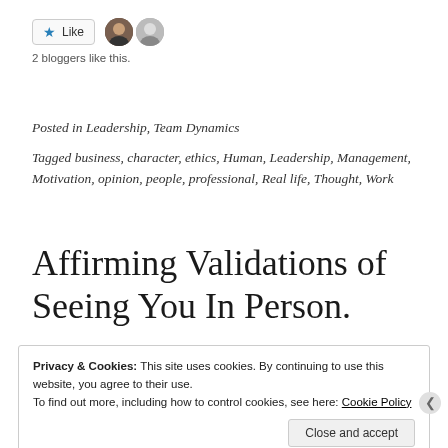[Figure (other): A Like button with a blue star and the word Like, followed by two small circular avatar photos]
2 bloggers like this.
Posted in Leadership, Team Dynamics
Tagged business, character, ethics, Human, Leadership, Management, Motivation, opinion, people, professional, Real life, Thought, Work
Affirming Validations of Seeing You In Person.
Privacy & Cookies: This site uses cookies. By continuing to use this website, you agree to their use.
To find out more, including how to control cookies, see here: Cookie Policy
Close and accept